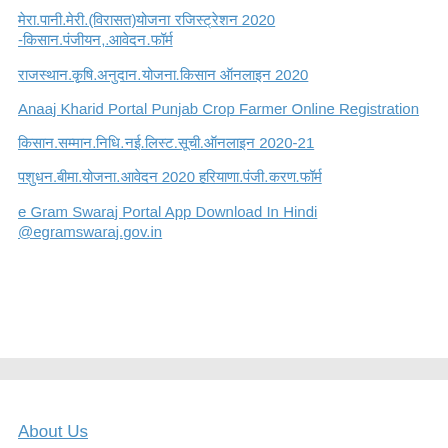मेरा.पानी.मेरी.(विरासत)योजना रजिस्ट्रेशन 2020 -किसान.पंजीयन,.आवेदन.फॉर्म
राजस्थान.कृषि.अनुदान.योजना.किसान ऑनलाइन 2020
Anaaj Kharid Portal Punjab Crop Farmer Online Registration
किसान.सम्मान.निधि.नई.लिस्ट.सूची.ऑनलाइन 2020-21
पशुधन.बीमा.योजना.आवेदन 2020 हरियाणा.पंजी.करण.फॉर्म
e Gram Swaraj Portal App Download In Hindi @egramswaraj.gov.in
About Us